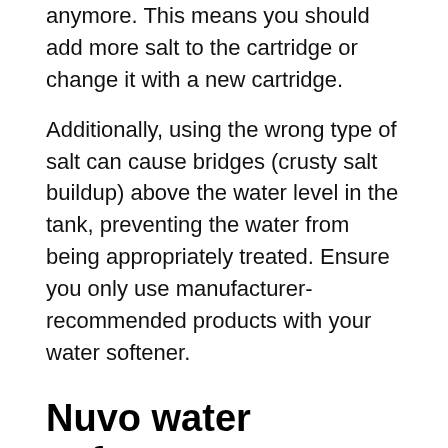anymore. This means you should add more salt to the cartridge or change it with a new cartridge.
Additionally, using the wrong type of salt can cause bridges (crusty salt buildup) above the water level in the tank, preventing the water from being appropriately treated. Ensure you only use manufacturer-recommended products with your water softener.
Nuvo water softener not draining
Check to see if the drain plug is clogged or closed. The softer may also be empty, so check to see if there is any debris or sediments collected at the